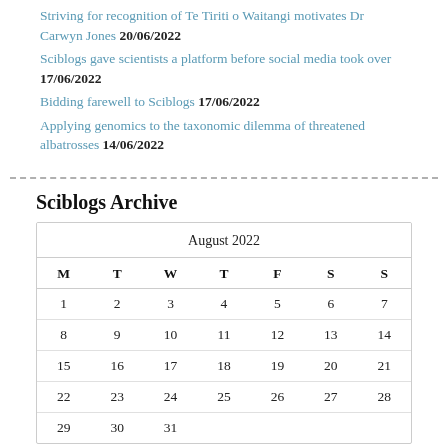Striving for recognition of Te Tiriti o Waitangi motivates Dr Carwyn Jones 20/06/2022
Sciblogs gave scientists a platform before social media took over 17/06/2022
Bidding farewell to Sciblogs 17/06/2022
Applying genomics to the taxonomic dilemma of threatened albatrosses 14/06/2022
Sciblogs Archive
| M | T | W | T | F | S | S |
| --- | --- | --- | --- | --- | --- | --- |
| 1 | 2 | 3 | 4 | 5 | 6 | 7 |
| 8 | 9 | 10 | 11 | 12 | 13 | 14 |
| 15 | 16 | 17 | 18 | 19 | 20 | 21 |
| 22 | 23 | 24 | 25 | 26 | 27 | 28 |
| 29 | 30 | 31 |  |  |  |  |